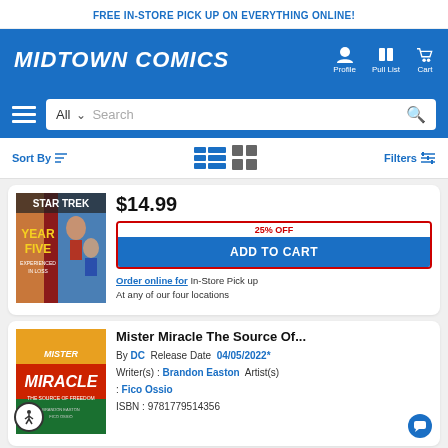FREE IN-STORE PICK UP ON EVERYTHING ONLINE!
MIDTOWN COMICS
Profile  Pull List  Cart
All  Search
Sort By  Filters
[Figure (photo): Star Trek Year Five: Experienced in Loss comic book cover]
$14.99
25% OFF
ADD TO CART
Order online for In-Store Pick up At any of our four locations
[Figure (photo): Mister Miracle The Source of Freedom comic book cover with accessibility icon]
Mister Miracle The Source Of...
By DC  Release Date  04/05/2022*
Writer(s) :  Brandon Easton  Artist(s) :  Fico Ossio
ISBN :  9781779514356